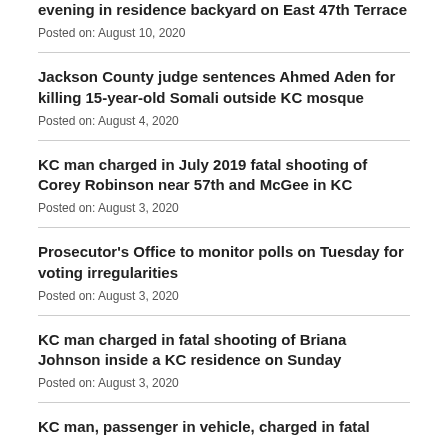evening in residence backyard on East 47th Terrace
Posted on: August 10, 2020
Jackson County judge sentences Ahmed Aden for killing 15-year-old Somali outside KC mosque
Posted on: August 4, 2020
KC man charged in July 2019 fatal shooting of Corey Robinson near 57th and McGee in KC
Posted on: August 3, 2020
Prosecutor's Office to monitor polls on Tuesday for voting irregularities
Posted on: August 3, 2020
KC man charged in fatal shooting of Briana Johnson inside a KC residence on Sunday
Posted on: August 3, 2020
KC man, passenger in vehicle, charged in fatal